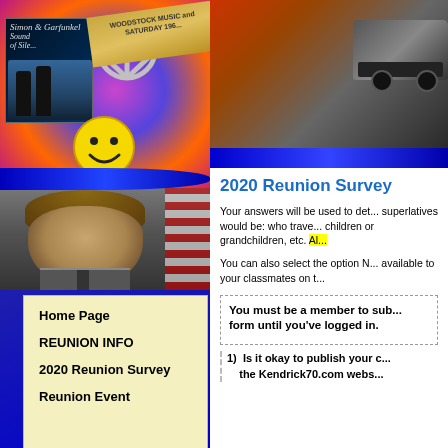[Figure (photo): Left column header collage: Simon & Garfunkel album cover, peace sign necklace, Woodstock music festival banner, smiley face, psychedelic background, JFK portrait with American flag, classic car silhouette]
2020 Reunion Survey
Your answers will be used to determine what superlatives would be: who traveled, children or grandchildren, etc. Al...
You can also select the option N... available to your classmates on t...
You must be a member to sub... form until you've logged in.
1)  Is it okay to publish your c... the Kendrick70.com webs...
Home Page
REUNION INFO
2020 Reunion Survey
Reunion Event